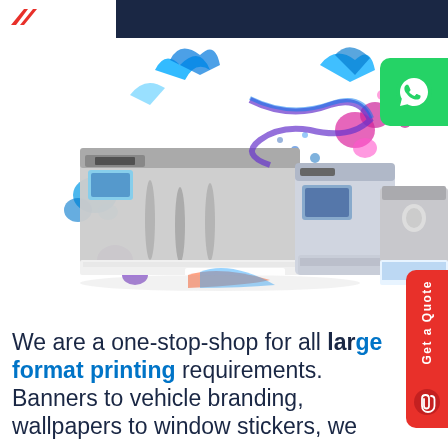[Figure (illustration): Collection of large format printing machines including offset printers, wide format printers, and copiers, with colorful ink splashes in blue, pink, and purple]
We are a one-stop-shop for all large format printing requirements. Banners to vehicle branding, wallpapers to window stickers, we